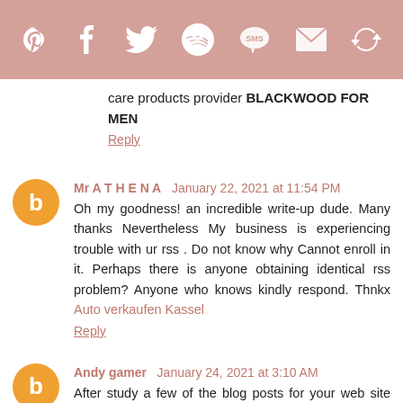[Figure (infographic): Social sharing icon bar with Pinterest, Facebook, Twitter, Amazon, SMS, Email, and refresh/share icons on a dusty rose/pink background]
care products provider BLACKWOOD FOR MEN
Reply
Mr A T H E N A   January 22, 2021 at 11:54 PM
Oh my goodness! an incredible write-up dude. Many thanks Nevertheless My business is experiencing trouble with ur rss . Do not know why Cannot enroll in it. Perhaps there is anyone obtaining identical rss problem? Anyone who knows kindly respond. Thnkx Auto verkaufen Kassel
Reply
Andy gamer   January 24, 2021 at 3:10 AM
After study a few of the blog posts for your web site now, and i also genuinely as if your method of blogging. I bookmarked it to my bookmark site list and will also be checking back soon. Pls check out my web page also and